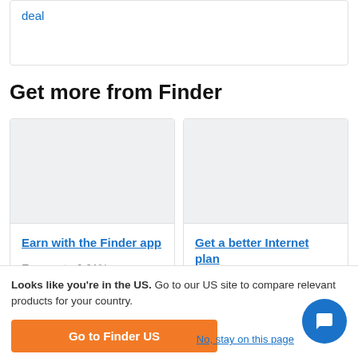deal
Get more from Finder
[Figure (other): Placeholder image for Finder app card]
Earn with the Finder app
Earn up to 6.01% p.a. on your capital.
[Figure (other): Placeholder image for Internet plan card]
Get a better Internet plan
Compare, cut costs and connect faster.
Looks like you're in the US. Go to our US site to compare relevant products for your country.
Go to Finder US
No, stay on this page